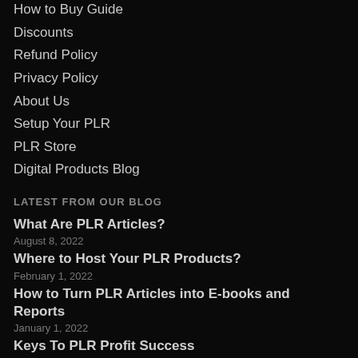How to Buy Guide
Discounts
Refund Policy
Privacy Policy
About Us
Setup Your PLR
PLR Store
Digital Products Blog
LATEST FROM OUR BLOG
What Are PLR Articles?
August 8, 2022
Where to Host Your PLR Products?
February 1, 2022
How to Turn PLR Articles into E-books and Reports
January 1, 2022
Keys To PLR Profit Success
December 1, 2021
Outsourcing Tasks for Your Online Business
November 1, 2021